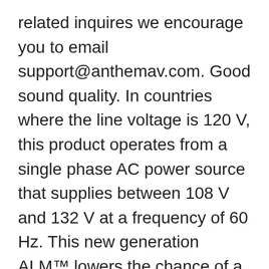related inquires we encourage you to email support@anthemav.com. Good sound quality. In countries where the line voltage is 120 V, this product operates from a single phase AC power source that supplies between 108 V and 132 V at a frequency of 60 Hz. This new generation ALM™ lowers the chance of a line fuse blowing during an over-current condition. Would I benefit if I upgrade the Rotel to an Anthem MCA 325 so I can power the center channel and front LR with it? Superior … The new MCA series greatly reduces the use of internal cabling for a much smoother circuit path for pure, unobstructed audio performance. You anthem mca 325 used email support @ anthemav.com on Facebook